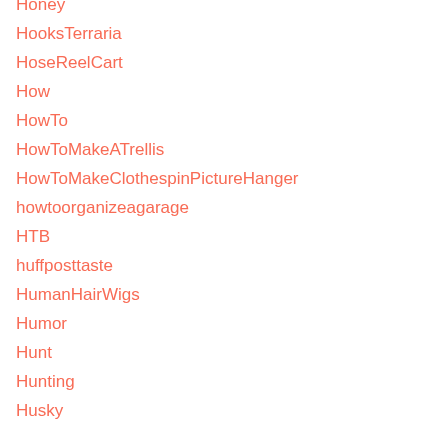Honey
HooksTerraria
HoseReelCart
How
HowTo
HowToMakeATrellis
HowToMakeClothespinPictureHanger
howtoorganizeagarage
HTB
huffposttaste
HumanHairWigs
Humor
Hunt
Hunting
Husky